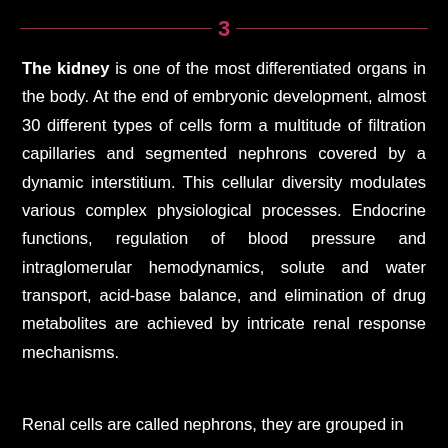3
The kidney is one of the most differentiated organs in the body. At the end of embryonic development, almost 30 different types of cells form a multitude of filtration capillaries and segmented nephrons covered by a dynamic interstitium. This cellular diversity modulates various complex physiological processes. Endocrine functions, regulation of blood pressure and intraglomerular hemodynamics, solute and water transport, acid-base balance, and elimination of drug metabolites are achieved by intricate renal response mechanisms.
Renal cells are called nephrons, they are grouped in